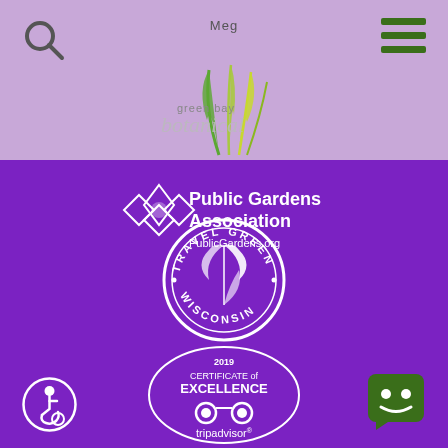[Figure (screenshot): Green Bay Botanical Garden website screenshot showing header with search icon, Meg menu text, hamburger menu, botanical garden logo with plant illustration, Public Gardens Association logo with PublicGardens.org, Travel Green Wisconsin circular badge, 2019 Certificate of Excellence TripAdvisor badge, accessibility icon, and chat widget]
Meg
[Figure (logo): Green Bay Botanical Garden logo with stylized plant/grass illustration in green and yellow, text 'green bay botanical' in gray]
[Figure (logo): American Public Gardens Association logo with diamond lattice flower symbol and text 'Public Gardens Association']
PublicGardens.org
[Figure (logo): Travel Green Wisconsin circular badge in white on purple background with leaf design]
[Figure (logo): TripAdvisor 2019 Certificate of Excellence badge with owl eyes logo and 'tripadvisor' text]